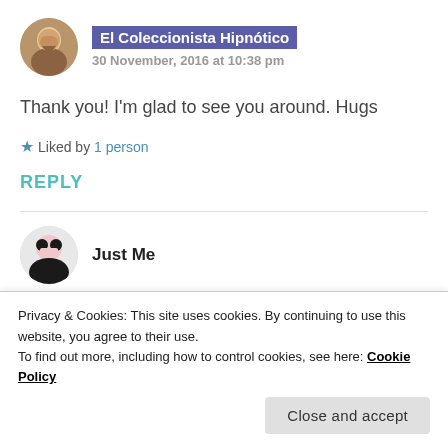[Figure (photo): Circular avatar photo of a person]
El Coleccionista Hipnótico
30 November, 2016 at 10:38 pm
Thank you! I'm glad to see you around. Hugs
★ Liked by 1 person
REPLY
[Figure (photo): Circular avatar photo for Just Me commenter]
Just Me
Privacy & Cookies: This site uses cookies. By continuing to use this website, you agree to their use.
To find out more, including how to control cookies, see here: Cookie Policy
Close and accept